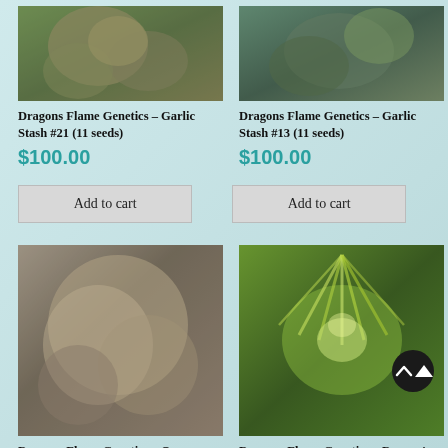[Figure (photo): Close-up photo of cannabis plant with dense trichome-covered buds, top-left product]
[Figure (photo): Close-up photo of cannabis plant with dense buds, top-right product]
Dragons Flame Genetics – Garlic Stash #21 (11 seeds)
$100.00
Dragons Flame Genetics – Garlic Stash #13 (11 seeds)
$100.00
Add to cart
Add to cart
[Figure (photo): Photo of large frosted cannabis buds with dense crystal coverage, bottom-left product]
[Figure (photo): Photo of cannabis plant with vibrant green and yellow leaves, bottom-right product]
Dragons Flame Genetics – Orange Stash Lisa Version
Dragons Flame Genetics – Dragon's Dream F1 (10